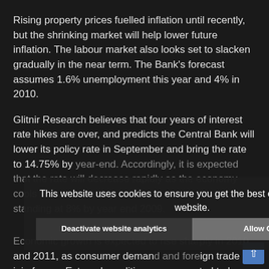Rising property prices fuelled inflation until recently, but the shrinking market will help lower future inflation. The labour market also looks set to slacken gradually in the near term. The Bank's forecast assumes 1.6% unemployment this year and 4% in 2010.
Glitnir Research believes that four years of interest rate hikes are over, and predicts the Central Bank will lower its policy rate in September and bring the rate to 14.75% by year-end. Accordingly, it is expected that the rate will decrease rapidly as the economy cools down – probably standing at 8% by year end 2009.
Economic growth is expected to rise sharply in 2010 and 2011, as consumer demand and foreign trade join forces. External conditions are expected to have improved and the report predicts growth of 3.8% in 2010 and 4.6% in 2011.